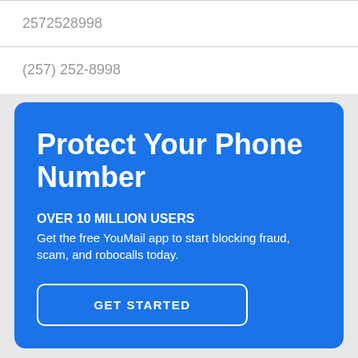2572528998
(257) 252-8998
Protect Your Phone Number
OVER 10 MILLION USERS
Get the free YouMail app to start blocking fraud, scam, and robocalls today.
GET STARTED